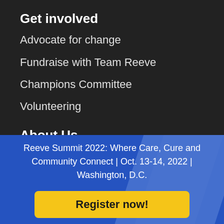Get involved
Advocate for change
Fundraise with Team Reeve
Champions Committee
Volunteering
About Us
Reeve Summit 2022: Where Care, Cure and Community Connect | Oct. 13-14, 2022 | Washington, D.C.
Register now!